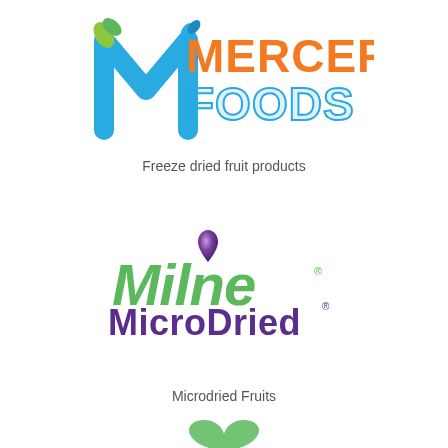[Figure (logo): Mercer Foods logo: large blue stylized M with green leaf accent, orange text MERCER on top right, blue text FOODS below]
Freeze dried fruit products
[Figure (logo): Milne MicroDried logo: green italic text Milne with purple water drop above the l, purple text MicroDried below with registered trademark symbol]
Microdried Fruits
[Figure (logo): Partial third logo visible at bottom of page, green circular mark]